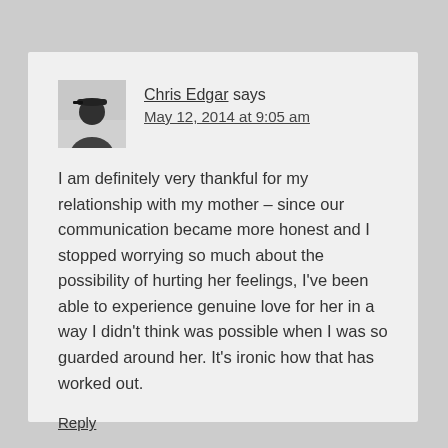[Figure (photo): Black and white profile photo of a person wearing a cap, facing left]
Chris Edgar says
May 12, 2014 at 9:05 am
I am definitely very thankful for my relationship with my mother – since our communication became more honest and I stopped worrying so much about the possibility of hurting her feelings, I've been able to experience genuine love for her in a way I didn't think was possible when I was so guarded around her. It's ironic how that has worked out.
Reply